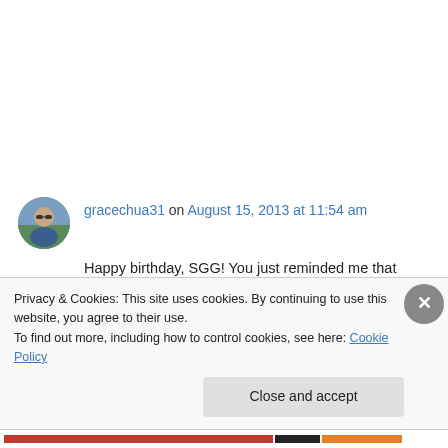gracechua31 on August 15, 2013 at 11:54 am
Happy birthday, SGG! You just reminded me that we're born in the same year and that I have just 456 days before I turn 30, too…yikes.
You're already doing something kickass – striking out on your own as a solopreneur. You
Privacy & Cookies: This site uses cookies. By continuing to use this website, you agree to their use.
To find out more, including how to control cookies, see here: Cookie Policy
Close and accept